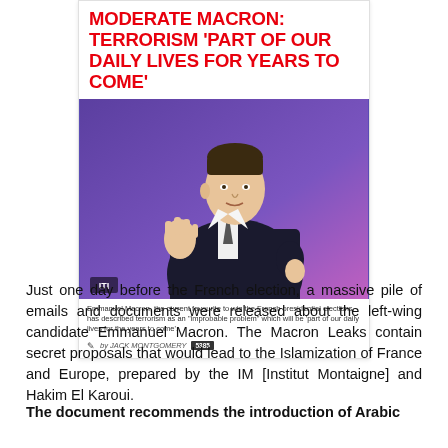MODERATE MACRON: TERRORISM 'PART OF OUR DAILY LIVES FOR YEARS TO COME'
[Figure (photo): Emmanuel Macron speaking, gesturing with hand, against a blue/purple background]
Emmanuel Macron, the current favourite to win the French presidential elections, has described terrorism as an 'improbable problem' which will be 'part of our daily lives for the years to come'.
by JACK MONTGOMERY
Just one day before the French election, a massive pile of emails and documents were released about the left-wing candidate Emmanuel Macron. The Macron Leaks contain secret proposals that would lead to the Islamization of France and Europe, prepared by the IM [Institut Montaigne] and Hakim El Karoui.
The document recommends the introduction of Arabic teaching to French schools, including adding school